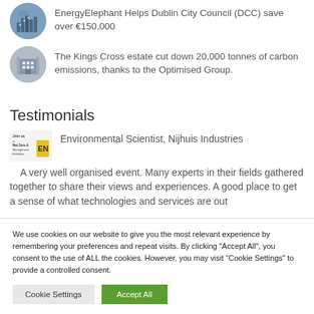EnergyElephant Helps Dublin City Council (DCC) save over €150,000
The Kings Cross estate cut down 20,000 tonnes of carbon emissions, thanks to the Optimised Group.
Testimonials
[Figure (logo): Join us at Net Zero & Management Exhibition logo with EN branding]
Environmental Scientist, Nijhuis Industries
A very well organised event. Many experts in their fields gathered together to share their views and experiences. A good place to get a sense of what technologies and services are out
We use cookies on our website to give you the most relevant experience by remembering your preferences and repeat visits. By clicking "Accept All", you consent to the use of ALL the cookies. However, you may visit "Cookie Settings" to provide a controlled consent.